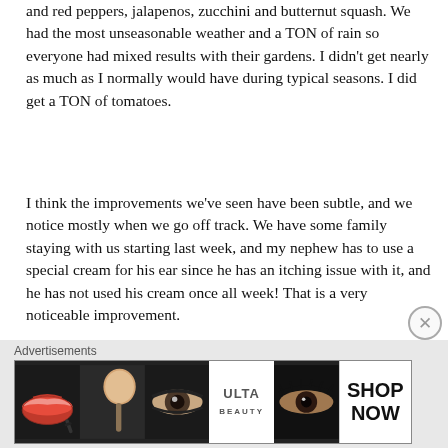and red peppers, jalapenos, zucchini and butternut squash. We had the most unseasonable weather and a TON of rain so everyone had mixed results with their gardens. I didn't get nearly as much as I normally would have during typical seasons. I did get a TON of tomatoes.
I think the improvements we've seen have been subtle, and we notice mostly when we go off track. We have some family staying with us starting last week, and my nephew has to use a special cream for his ear since he has an itching issue with it, and he has not used his cream once all week! That is a very noticeable improvement.
We're not even doing the Feingold program strictly, we are simply making scratch meals. It's a ton of work but it's worth it! I am blessed enough to stay home and homeschool our children, we have 3 in school
Advertisements
[Figure (other): Advertisement banner showing beauty/makeup imagery with ULTA logo and SHOP NOW text]